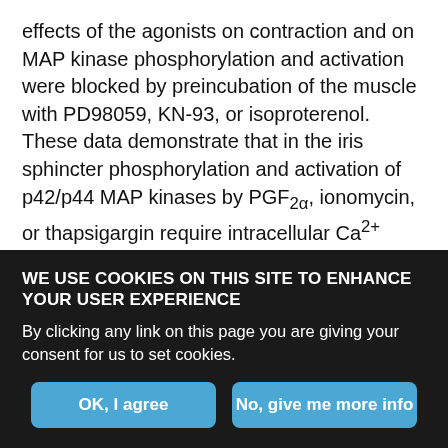effects of the agonists on contraction and on MAP kinase phosphorylation and activation were blocked by preincubation of the muscle with PD98059, KN-93, or isoproterenol. These data demonstrate that in the iris sphincter phosphorylation and activation of p42/p44 MAP kinases by PGF2α, ionomycin, or thapsigargin require intracellular Ca2+ either from extracellular sources or from internal stores, that CaMKII plays an important role in the regulation of contraction, that CaMKII acts upstream of MAP kinase to control its activation, and that the MAP kinase signaling pathway can play a significant role in mediating the cellular effects of these Ca2+-mobilizing agonists.
WE USE COOKIES ON THIS SITE TO ENHANCE YOUR USER EXPERIENCE
By clicking any link on this page you are giving your consent for us to set cookies.
OK, I agree
No, give me more info